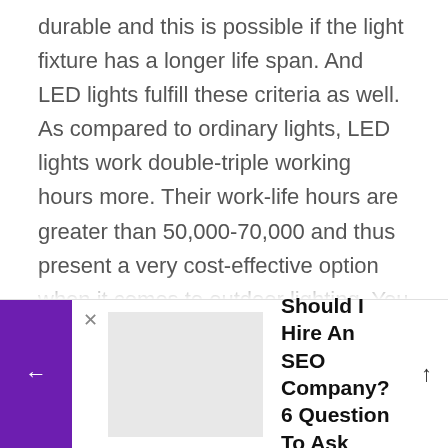durable and this is possible if the light fixture has a longer life span. And LED lights fulfill these criteria as well. As compared to ordinary lights, LED lights work double-triple working hours more. Their work-life hours are greater than 50,000-70,000 and thus present a very cost-effective option when it comes to outdoor lighting. You don't require additional maintenance charges plus they are energy-efficient. You don't have to take the pain to replace them because they work longer than your expectations.
[Figure (screenshot): Website widget bar showing a related article link: 'Should I Hire An SEO Company? 6 Question To Ask' with a purple left arrow button, close X, thumbnail image, title text, up arrow, and purple right accent.]